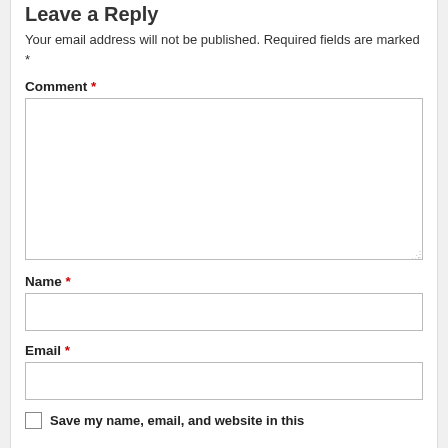Leave a Reply
Your email address will not be published. Required fields are marked *
Comment *
[Figure (other): Large multi-line textarea input box for comment]
Name *
[Figure (other): Single-line text input box for name]
Email *
[Figure (other): Single-line text input box for email]
Save my name, email, and website in this